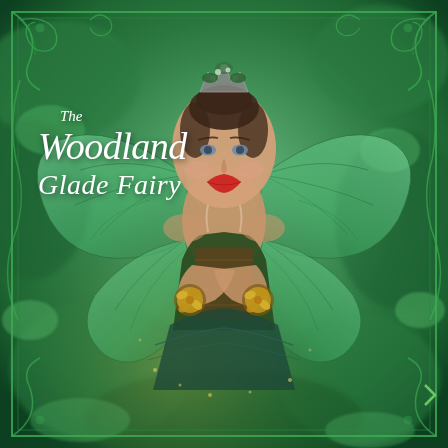[Figure (photo): A young woman dressed as a fairy with large translucent green wings and a jeweled crown decorated with flowers, wearing a dark green sequined costume with yellow rose wrist corsages, smiling and posing with arms crossed, against a green woodland/forest bokeh background with decorative green Art Nouveau style border frame around the image.]
The Woodland Glade Fairy